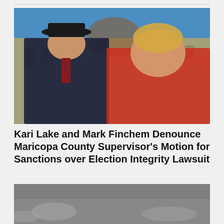[Figure (photo): Photo of two people standing in front of a government building. On the left, a man wearing a black cowboy hat, dark suit jacket, and striped red-and-navy tie, smiling. On the right, a woman with short blonde hair wearing a bright red top, also smiling. Background shows a stone government building under a blue sky.]
Kari Lake and Mark Finchem Denounce Maricopa County Supervisor's Motion for Sanctions over Election Integrity Lawsuit
[Figure (photo): Weather widget showing NASHVILLE with temperature 73 degrees. Background shows a cloudy sky.]